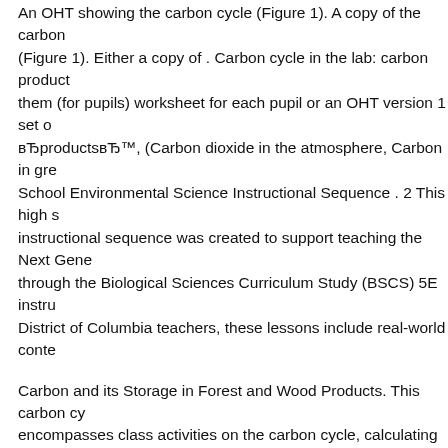An OHT showing the carbon cycle (Figure 1). A copy of the carbon cycle (Figure 1). Either a copy of . Carbon cycle in the lab: carbon products them (for pupils) worksheet for each pupil or an OHT version 1 set of вЂproductsвЂ™, (Carbon dioxide in the atmosphere, Carbon in gre School Environmental Science Instructional Sequence . 2 This high s instructional sequence was created to support teaching the Next Gene through the Biological Sciences Curriculum Study (BSCS) 5E instru District of Columbia teachers, these lessons include real-world conte
Carbon and its Storage in Forest and Wood Products. This carbon cy encompasses class activities on the carbon cycle, calculating carbon carbon is sequestered. File Size: 848.51 kb File Type: PDF Downloa talk related with Nitrogen Cycle Worksheet Middle School, we alrea pictures to complete your references. nitrogen cycle worksheet high s worksheet middle school and water cycle diagram worksheet are thre present to you based on the post title. Beside that, we also come
ELECTRIC CARS Name _____ Carbon Cycle Worksheet In the spa version of the carbon cycle. Use arrows to show which way Ecosyste Ridge High School View Homework Help - carbon  worksheet-1 o